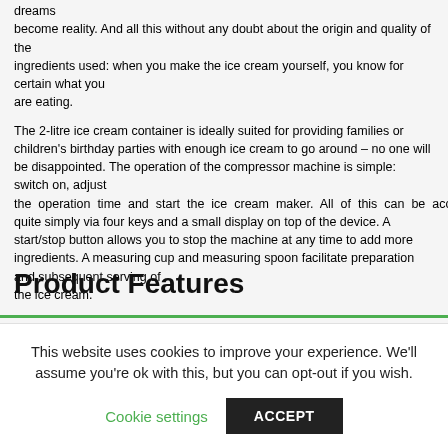dreams become reality. And all this without any doubt about the origin and quality of the ingredients used: when you make the ice cream yourself, you know for certain what you are eating.

The 2-litre ice cream container is ideally suited for providing families or children's birthday parties with enough ice cream to go around – no one will be disappointed. The operation of the compressor machine is simple: switch on, adjust the operation time and start the ice cream maker. All of this can be accomplished quite simply via four keys and a small display on top of the device. A start/stop button allows you to stop the machine at any time to add more ingredients. A measuring cup and measuring spoon facilitate preparation and subsequent serving of the ice cream.
Product Features
This website uses cookies to improve your experience. We'll assume you're ok with this, but you can opt-out if you wish.